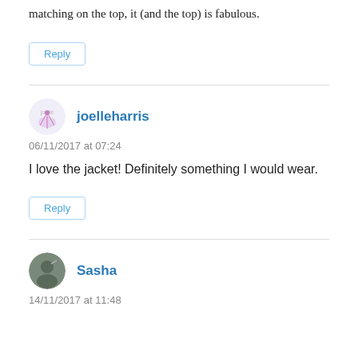matching on the top, it (and the top) is fabulous.
Reply
joelleharris
06/11/2017 at 07:24
I love the jacket! Definitely something I would wear.
Reply
Sasha
14/11/2017 at 11:48